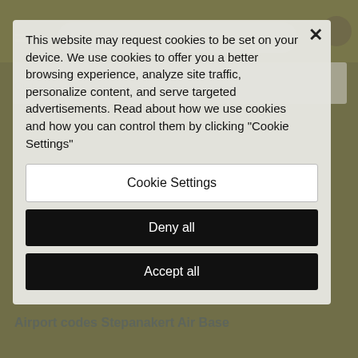[Figure (screenshot): Airport website background with search bar, hamburger menu, and navigation links partially visible behind a cookie consent modal overlay]
This website may request cookies to be set on your device. We use cookies to offer you a better browsing experience, analyze site traffic, personalize content, and serve targeted advertisements. Read about how we use cookies and how you can control them by clicking "Cookie Settings"
Cookie Settings
Deny all
Accept all